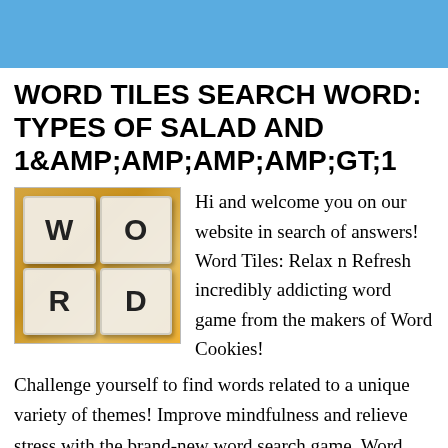[Figure (illustration): Blue banner header strip at the top of the page]
WORD TILES SEARCH WORD: TYPES OF SALAD AND 1&AMP;AMP;AMP;AMP;GT;1
[Figure (screenshot): Word Tiles game app icon showing letter tiles W, O, R, D arranged in a 2x2 grid on an autumn landscape background]
Hi and welcome you on our website in search of answers! Word Tiles: Relax n Refresh incredibly addicting word game from the makers of Word Cookies!
Challenge yourself to find words related to a unique variety of themes! Improve mindfulness and relieve stress with the brand-new word search game, Word Tiles: Relax n Refresh. Relax and find all the words from stacks of letter tiles set in front of a beautiful landscape background with peaceful